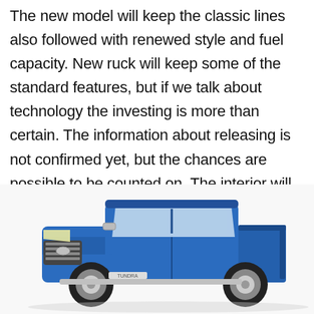The new model will keep the classic lines also followed with renewed style and fuel capacity. New ruck will keep some of the standard features, but if we talk about technology the investing is more than certain. The information about releasing is not confirmed yet, but the chances are possible to be counted on. The interior will stay spacious with leather materials within.
[Figure (photo): Red 'TOP' button with upward arrow chevron, positioned in lower right area of text block]
[Figure (photo): Blue Toyota Tundra pickup truck facing left, shown from a front-three-quarter angle against a white background]